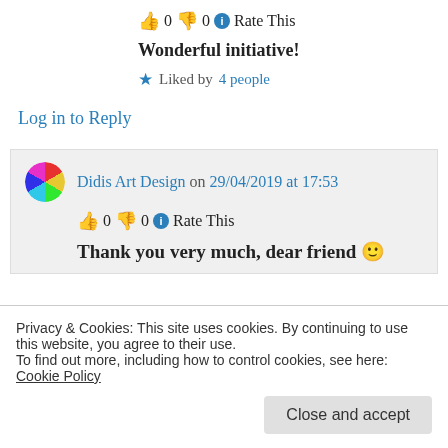👍 0 👎 0 ℹ Rate This
Wonderful initiative!
★ Liked by 4 people
Log in to Reply
Didis Art Design on 29/04/2019 at 17:53
👍 0 👎 0 ℹ Rate This
Thank you very much, dear friend 🙂
Privacy & Cookies: This site uses cookies. By continuing to use this website, you agree to their use. To find out more, including how to control cookies, see here: Cookie Policy
Close and accept